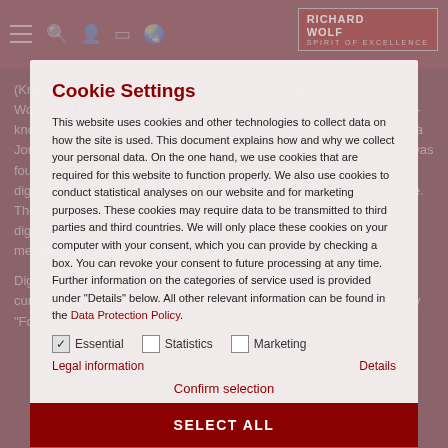[Figure (screenshot): Background website page showing Richard Wolf medical technology company content, partially visible behind cookie settings overlay. Dark red/maroon header with navigation icons and Richard Wolf logo.]
Cookie Settings
This website uses cookies and other technologies to collect data on how the site is used. This document explains how and why we collect your personal data. On the one hand, we use cookies that are required for this website to function properly. We also use cookies to conduct statistical analyses on our website and for marketing purposes. These cookies may require data to be transmitted to third parties and third countries. We will only place these cookies on your computer with your consent, which you can provide by checking a box. You can revoke your consent to future processing at any time. Further information on the categories of service used is provided under "Details" below. All other relevant information can be found in the Data Protection Policy.
Essential   Statistics   Marketing
Legal information
Details
Confirm selection
SELECT ALL